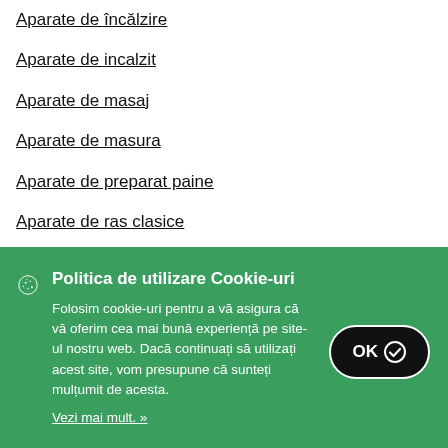Aparate de încălzire
Aparate de incalzit
Aparate de masaj
Aparate de masura
Aparate de preparat paine
Aparate de ras clasice
Aparate de ras electrice
Aparate de ras pentru femei
Politica de utilizare Cookie-uri
Folosim cookie-uri pentru a vă asigura că vă oferim cea mai bună experiență pe site-ul nostru web. Dacă continuați să utilizați acest site, vom presupune că sunteți mulțumit de acesta.
Vezi mai mult. »